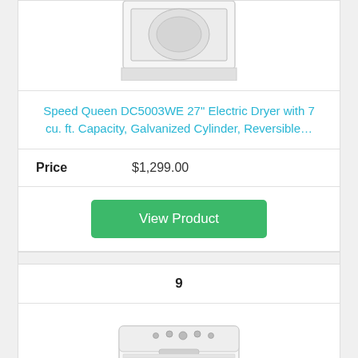[Figure (photo): Partial image of a white electric dryer (top portion cropped)]
Speed Queen DC5003WE 27" Electric Dryer with 7 cu. ft. Capacity, Galvanized Cylinder, Reversible…
| Price | $1,299.00 |
| --- | --- |
View Product
9
[Figure (photo): White top-load washing machine, partially visible]